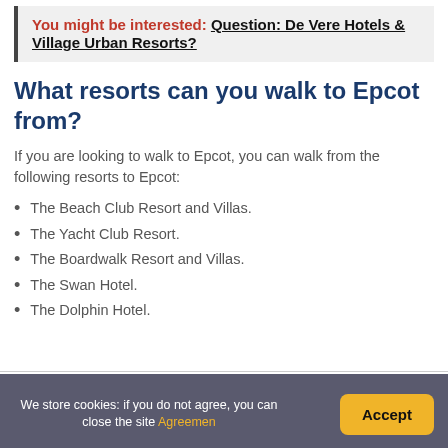You might be interested: Question: De Vere Hotels & Village Urban Resorts?
What resorts can you walk to Epcot from?
If you are looking to walk to Epcot, you can walk from the following resorts to Epcot:
The Beach Club Resort and Villas.
The Yacht Club Resort.
The Boardwalk Resort and Villas.
The Swan Hotel.
The Dolphin Hotel.
We store cookies: if you do not agree, you can close the site Agreement